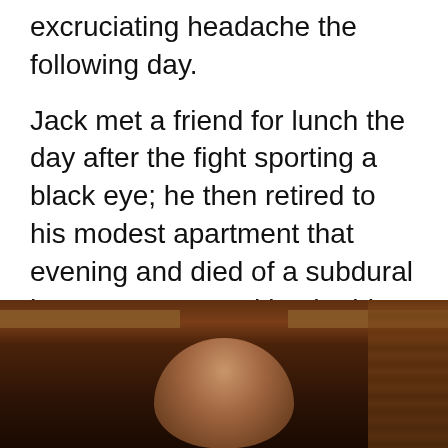excruciating headache the following day.

Jack met a friend for lunch the day after the fight sporting a black eye; he then retired to his modest apartment that evening and died of a subdural hematoma caused by the blow to his head. The coroner ruled a verdict of homicide due to blunt force trauma. Nance was 53 years old.
[Figure (photo): A photograph of a man seated, shown from the shoulders up, with a wooden shelf or paneling visible in the background. The image is partially cropped showing the top of the man's head at the bottom of the frame.]